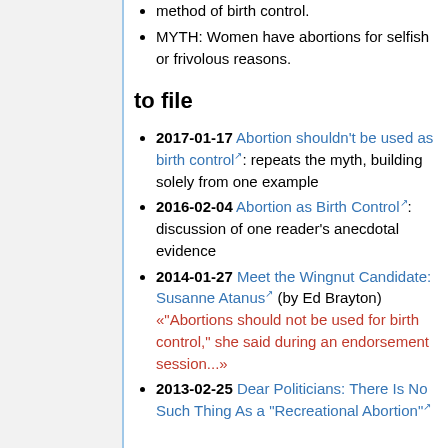method of birth control.
MYTH: Women have abortions for selfish or frivolous reasons.
to file
2017-01-17 Abortion shouldn't be used as birth control: repeats the myth, building solely from one example
2016-02-04 Abortion as Birth Control: discussion of one reader's anecdotal evidence
2014-01-27 Meet the Wingnut Candidate: Susanne Atanus (by Ed Brayton) «"Abortions should not be used for birth control," she said during an endorsement session...»
2013-02-25 Dear Politicians: There Is No Such Thing As a "Recreational Abortion"